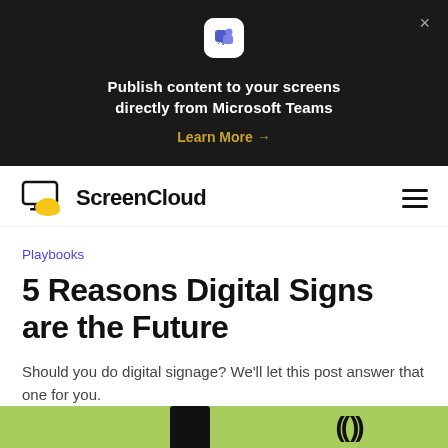[Figure (screenshot): Dark banner with Microsoft Teams app icon, promotional text 'Publish content to your screens directly from Microsoft Teams', a 'Learn More →' link in gold, and an X close button.]
[Figure (logo): ScreenCloud logo: yellow cloud with monitor icon, text 'ScreenCloud' in bold black, hamburger menu icon on right.]
Playbooks
5 Reasons Digital Signs are the Future
Should you do digital signage? We'll let this post answer that one for you.
[Figure (other): Social sharing icons: Twitter bird, Facebook f, LinkedIn in]
[Figure (photo): Green strip at the bottom of the page, partially visible article image.]